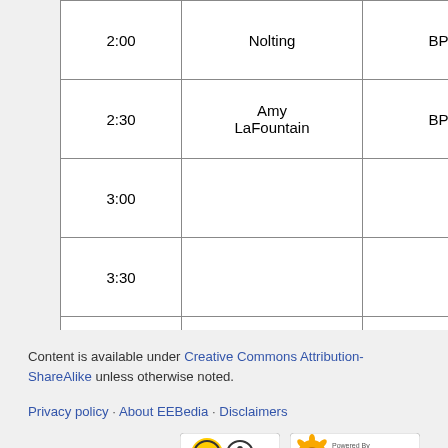| Time | Name | Room |
| --- | --- | --- |
| 2:00 | Nolting | BPB 302 |
| 2:30 | Amy LaFountain | BPB 304 |
| 3:00 |  |  |
| 3:30 |  |  |
| 4:00 |  |  |
| 4:30 | Veronica Bueno | TLS 478 |
Content is available under Creative Commons Attribution-ShareAlike unless otherwise noted.
Privacy policy · About EEBedia · Disclaimers